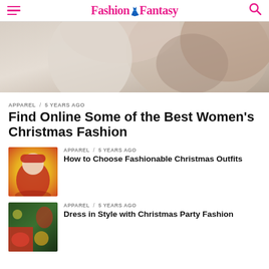Fashion Fantasy
[Figure (photo): Partial view of a woman with dark curly hair wearing a white sweater and a star necklace, with arms raised]
APPAREL / 5 years ago
Find Online Some of the Best Women’s Christmas Fashion
APPAREL / 5 years ago
[Figure (photo): Woman dressed in Santa outfit with red coat and Santa hat, smiling on yellow glowing background]
How to Choose Fashionable Christmas Outfits
APPAREL / 5 years ago
[Figure (photo): Collage of Christmas themed images with woman in red dress near Christmas tree and ornaments]
Dress in Style with Christmas Party Fashion